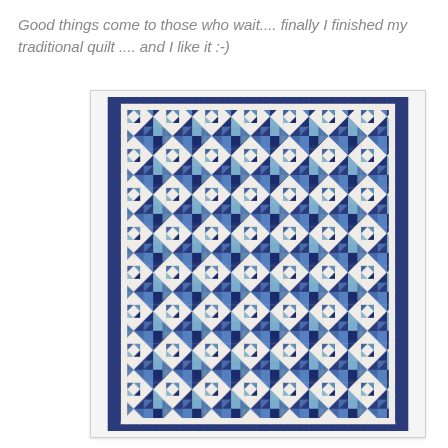Good things come to those who wait.... finally I finished my traditional quilt .... and I like it :-)
[Figure (photo): A traditional patchwork quilt displayed flat, featuring a geometric pattern of small triangles arranged in blue shades (navy, cobalt, light blue, teal) on a cream/white background. The quilt has a sawtooth border also in blue and white.]